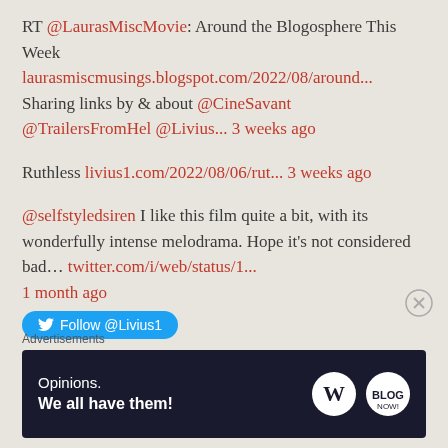RT @LaurasMiscMovie: Around the Blogosphere This Week laurasmiscmusings.blogspot.com/2022/08/around... Sharing links by & about @CineSavant @TrailersFromHel @Livius... 3 weeks ago
Ruthless livius1.com/2022/08/06/rut... 3 weeks ago
@selfstyledsiren I like this film quite a bit, with its wonderfully intense melodrama. Hope it's not considered bad... twitter.com/i/web/status/1... 1 month ago
Follow @Livius1
Advertisements
[Figure (infographic): Advertisement banner with dark background showing 'Opinions. We all have them!' with WordPress and Blog logos]